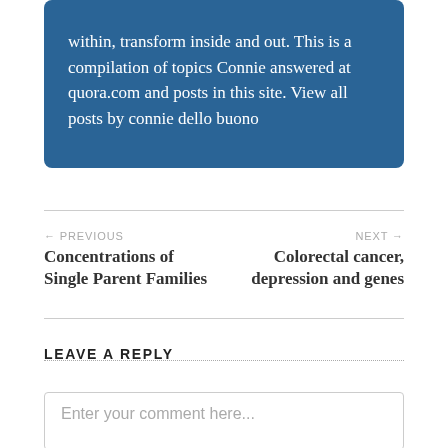within, transform inside and out. This is a compilation of topics Connie answered at quora.com and posts in this site. View all posts by connie dello buono
← PREVIOUS
Concentrations of Single Parent Families
NEXT →
Colorectal cancer, depression and genes
LEAVE A REPLY
Enter your comment here...